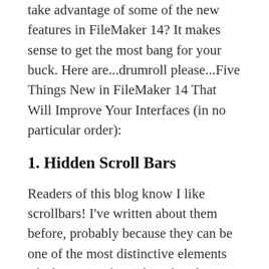take advantage of some of the new features in FileMaker 14? It makes sense to get the most bang for your buck. Here are...drumroll please...Five Things New in FileMaker 14 That Will Improve Your Interfaces (in no particular order):
1. Hidden Scroll Bars
Readers of this blog know I like scrollbars! I've written about them before, probably because they can be one of the most distinctive elements of a layout, and in FileMaker there is very little about scrollbars that can be styled. So choosing the look of the scrollbars is a